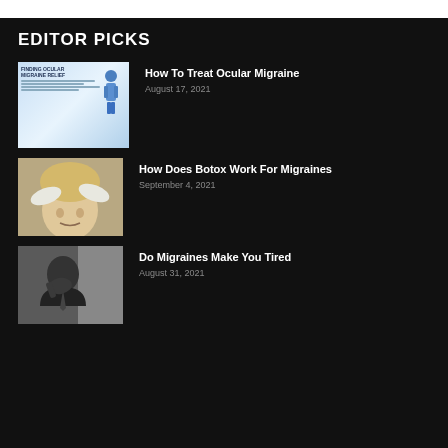EDITOR PICKS
[Figure (illustration): Infographic thumbnail about finding ocular migraine relief, showing a woman figure and text]
How To Treat Ocular Migraine
August 17, 2021
[Figure (photo): Photo of gloved hands administering botox injection to a woman's forehead]
How Does Botox Work For Migraines
September 4, 2021
[Figure (photo): Black and white photo of a man covering his mouth with his hand, appearing tired or in pain]
Do Migraines Make You Tired
August 31, 2021